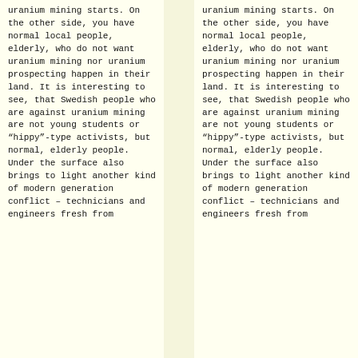uranium mining starts. On the other side, you have normal local people, elderly, who do not want uranium mining nor uranium prospecting happen in their land. It is interesting to see, that Swedish people who are against uranium mining are not young students or “hippy”-type activists, but normal, elderly people. Under the surface also brings to light another kind of modern generation conflict – technicians and engineers fresh from
uranium mining starts. On the other side, you have normal local people, elderly, who do not want uranium mining nor uranium prospecting happen in their land. It is interesting to see, that Swedish people who are against uranium mining are not young students or “hippy”-type activists, but normal, elderly people. Under the surface also brings to light another kind of modern generation conflict – technicians and engineers fresh from